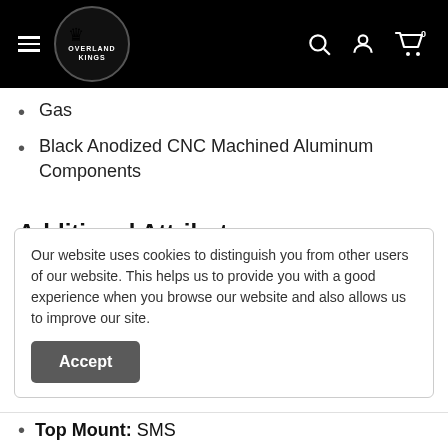Overland Kings — navigation header
Gas
Black Anodized CNC Machined Aluminum Components
Additional Attributes:
Our website uses cookies to distinguish you from other users of our website. This helps us to provide you with a good experience when you browse our website and also allows us to improve our site.
Top Mount: SMS